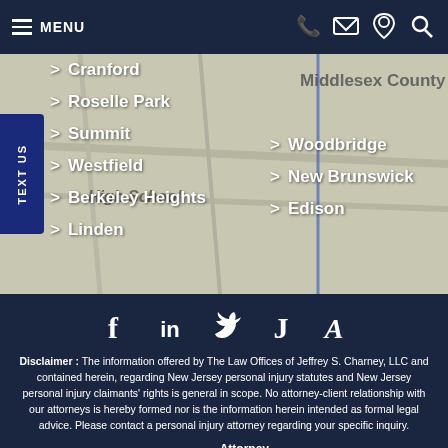MENU [navigation bar with phone, email, location, search icons]
[Figure (map): Background map showing New Jersey area with 'Middlesex County' label and 'High School' text, blue road line]
> Cranford
> Roselle Park
> Summit
> Westfield
> Berkeley Heights
> Linden
> Woodbridge
> New Brunswick
> Edison
[Figure (infographic): Social media icons row: Facebook (f), LinkedIn (in), Twitter (bird), Justia (J), Avvo (A)]
Disclaimer : The information offered by The Law Offices of Jeffrey S. Charney, LLC and contained herein, regarding New Jersey personal injury statutes and New Jersey personal injury claimants' rights is general in scope. No attorney-client relationship with our attorneys is hereby formed nor is the information herein intended as formal legal advice. Please contact a personal injury attorney regarding your specific inquiry.
[Figure (logo): Attorney Marketing Network logo with red triangular M icon and text 'Attorney Marketing Network']